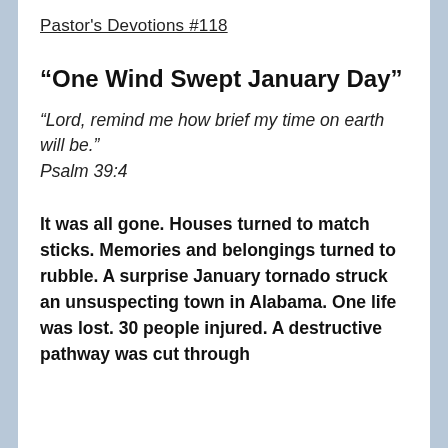Pastor's Devotions #118
“One Wind Swept January Day”
“Lord, remind me how brief my time on earth will be.”
Psalm 39:4
It was all gone. Houses turned to match sticks. Memories and belongings turned to rubble. A surprise January tornado struck an unsuspecting town in Alabama. One life was lost. 30 people injured. A destructive pathway was cut through